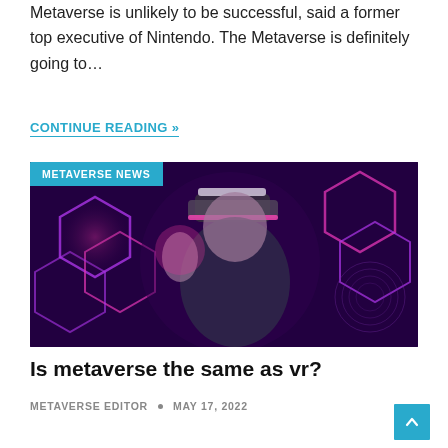Metaverse is unlikely to be successful, said a former top executive of Nintendo. The Metaverse is definitely going to…
CONTINUE READING »
[Figure (photo): Person wearing a VR headset with glowing purple and pink hexagonal shapes in the background, reaching out with one hand. Category badge reads 'METAVERSE NEWS'.]
Is metaverse the same as vr?
METAVERSE EDITOR • MAY 17, 2022